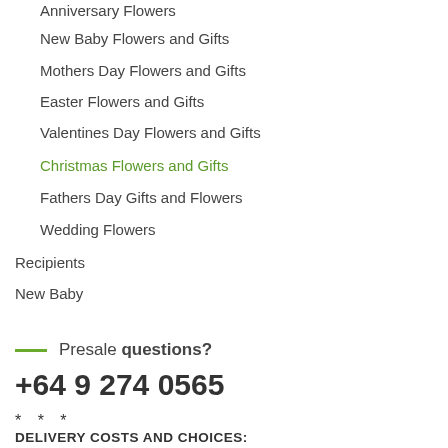Anniversary Flowers
New Baby Flowers and Gifts
Mothers Day Flowers and Gifts
Easter Flowers and Gifts
Valentines Day Flowers and Gifts
Christmas Flowers and Gifts
Fathers Day Gifts and Flowers
Wedding Flowers
Recipients
New Baby
Presale questions?
+64 9 274 0565
* * *
DELIVERY COSTS AND CHOICES:
Most of Auckland $16.50 – area covers North to